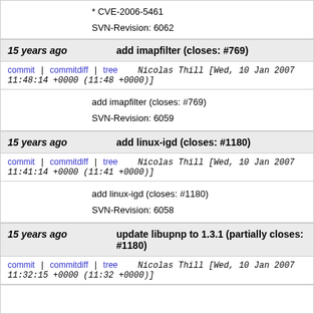* CVE-2006-5461

SVN-Revision: 6062
15 years ago    add imapfilter (closes: #769)
commit | commitdiff | tree    Nicolas Thill [Wed, 10 Jan 2007 11:48:14 +0000 (11:48 +0000)]
add imapfilter (closes: #769)

SVN-Revision: 6059
15 years ago    add linux-igd (closes: #1180)
commit | commitdiff | tree    Nicolas Thill [Wed, 10 Jan 2007 11:41:14 +0000 (11:41 +0000)]
add linux-igd (closes: #1180)

SVN-Revision: 6058
15 years ago    update libupnp to 1.3.1 (partially closes: #1180)
commit | commitdiff | tree    Nicolas Thill [Wed, 10 Jan 2007 11:32:15 +0000 (11:32 +0000)]